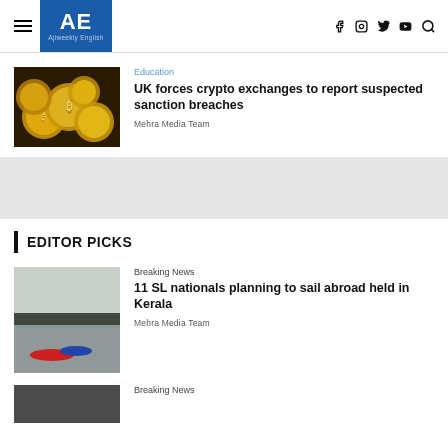AE Ajiweekly English — navigation header with hamburger menu, logo, and social icons (f, instagram, twitter, youtube, search)
Education
UK forces crypto exchanges to report suspected sanction breaches
Mehra Media Team
EDITOR PICKS
Breaking News
11 SL nationals planning to sail abroad held in Kerala
Mehra Media Team
Breaking News